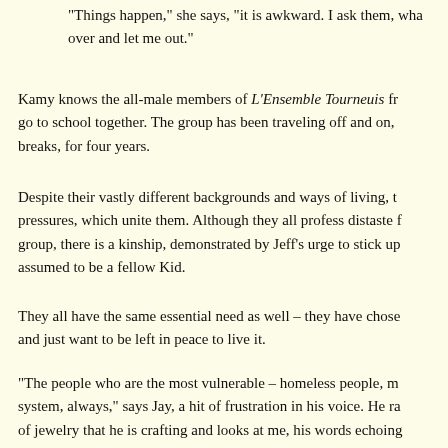“Things happen,” she says, “it is awkward. I ask them, wha… over and let me out.”
Kamy knows the all-male members of L’Ensemble Tourneuis fr… go to school together. The group has been traveling off and on,… breaks, for four years.
Despite their vastly different backgrounds and ways of living, th… pressures, which unite them. Although they all profess distaste f… group, there is a kinship, demonstrated by Jeff’s urge to stick up… assumed to be a fellow Kid.
They all have the same essential need as well – they have chose… and just want to be left in peace to live it.
“The people who are the most vulnerable – homeless people, m… system, always,” says Jay, a hit of frustration in his voice. He ra… of jewelry that he is crafting and looks at me, his words echoing…